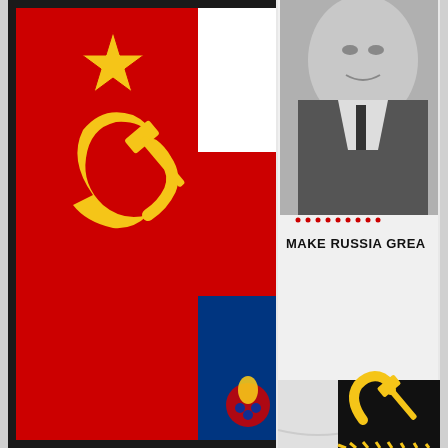[Figure (photo): A photograph showing Russian souvenirs: a red Soviet flag with yellow hammer and sickle and star on the left, a Russian tricolor flag (white-blue-red) in the middle with a Russian Football Federation crest, and a white t-shirt on the right with a photo of Vladimir Putin and text 'MAKE RUSSIA GREA[T]' with red dotted stars. In the lower right corner, a black and yellow item with a hammer and sickle symbol is partially visible.]